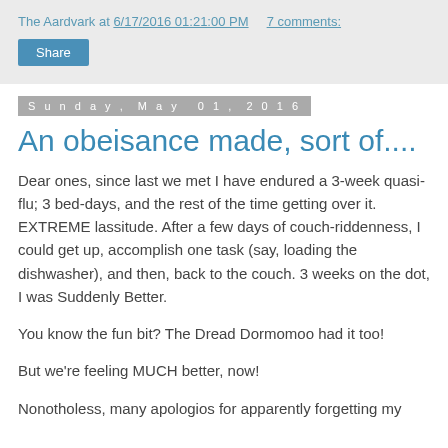The Aardvark at 6/17/2016 01:21:00 PM   7 comments:
Share
Sunday, May 01, 2016
An obeisance made, sort of....
Dear ones, since last we met I have endured a 3-week quasi-flu; 3 bed-days, and the rest of the time getting over it. EXTREME lassitude. After a few days of couch-riddenness, I could get up, accomplish one task (say, loading the dishwasher), and then, back to the couch. 3 weeks on the dot, I was Suddenly Better.
You know the fun bit? The Dread Dormomoo had it too!
But we're feeling MUCH better, now!
Nonotholess, many apologios for apparently forgetting my